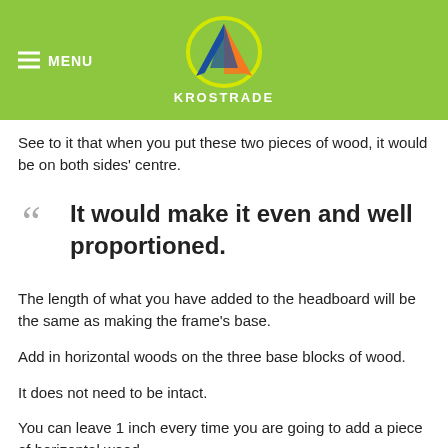MENU | KROSTRADE
See to it that when you put these two pieces of wood, it would be on both sides' centre.
It would make it even and well proportioned.
The length of what you have added to the headboard will be the same as making the frame's base.
Add in horizontal woods on the three base blocks of wood.
It does not need to be intact.
You can leave 1 inch every time you are going to add a piece of horizontal wood.